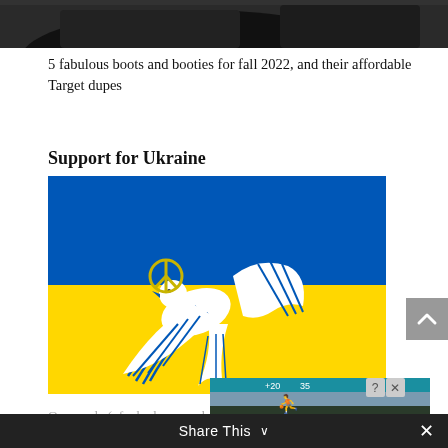[Figure (photo): Dark image cropped at top, appears to show a person in a vehicle interior]
5 fabulous boots and booties for fall 2022, and their affordable Target dupes
Support for Ukraine
[Figure (illustration): Ukrainian flag (blue top half, yellow bottom half) with white dove illustration carrying a peace symbol (yellow circle with peace sign) and stylized blue-striped wings/feathers]
On a scale (of who knows what to who knows what)
[Figure (screenshot): Ad overlay showing 'Hold and Move' game with dark background and trees]
Share This ∨